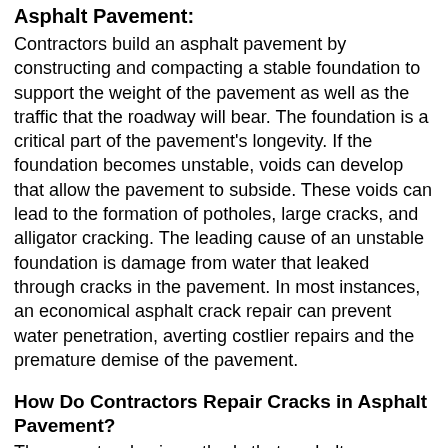Asphalt Pavement:
Contractors build an asphalt pavement by constructing and compacting a stable foundation to support the weight of the pavement as well as the traffic that the roadway will bear. The foundation is a critical part of the pavement's longevity. If the foundation becomes unstable, voids can develop that allow the pavement to subside. These voids can lead to the formation of potholes, large cracks, and alligator cracking. The leading cause of an unstable foundation is damage from water that leaked through cracks in the pavement. In most instances, an economical asphalt crack repair can prevent water penetration, averting costlier repairs and the premature demise of the pavement.
How Do Contractors Repair Cracks in Asphalt Pavement?
There are two basic methods that asphalt contractors can use to repair cracks. The method chosen depends on the nature of the crack. Both methods require the contractor to clean out the crack before introducing the repair material.
• Asphalt crack filling is the introduction of a fill material into the crack. Asphalt crack filler is somewhat rigid, as it is